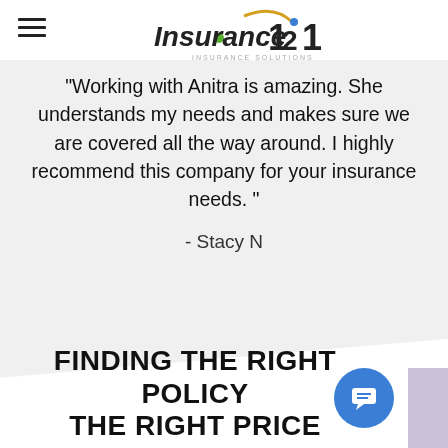Insurance 121 - Insurance Solutions
"Working with Anitra is amazing. She understands my needs and makes sure we are covered all the way around.  I highly recommend this company for your insurance needs. "
- Stacy N
FINDING THE RIGHT POLICY THE RIGHT PRICE